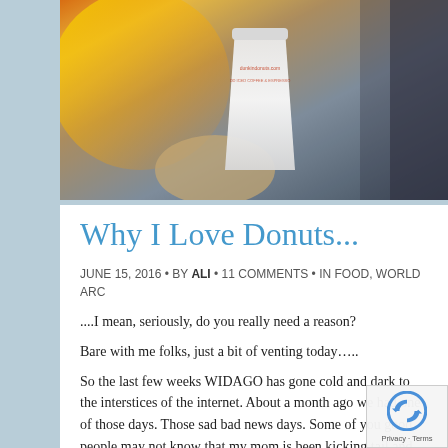[Figure (photo): A photo of a person holding a cup (likely a Dunkin Donuts or similar coffee/donut cup) in warm sunlight, with a bright orange-yellow glow in the background.]
Why I Love Donuts...
JUNE 15, 2016 • BY ALI • 11 COMMENTS • IN FOOD, WORLD ARC
....I mean, seriously, do you really need a reason?
Bare with me folks, just a bit of venting today…..
So the last few weeks WIDAGO has gone cold and dark to the interstices of the internet. About a month ago we had one of those days. Those sad bad news days. Some of you good people may not know that my mom is been kicking tail and taking names in her battle again ovarian cancer for past three and half years. Cancer sucks. However, if you are going to put your big girl panties on and fight it, fight it well. Fight it like Sheesh. As